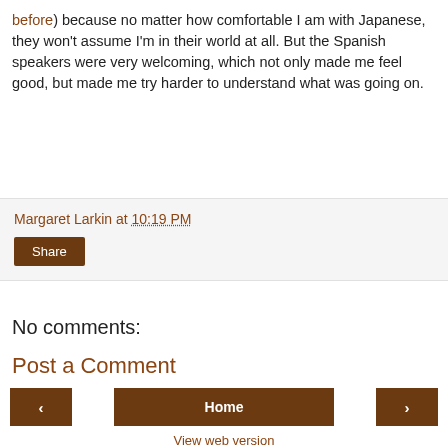before) because no matter how comfortable I am with Japanese, they won't assume I'm in their world at all. But the Spanish speakers were very welcoming, which not only made me feel good, but made me try harder to understand what was going on.
Margaret Larkin at 10:19 PM
Share
No comments:
Post a Comment
‹
Home
›
View web version
About Me
Margaret Larkin